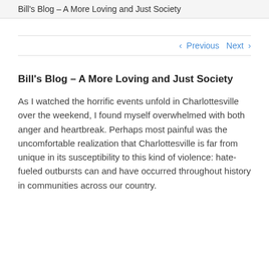Bill's Blog – A More Loving and Just Society
< Previous   Next >
Bill's Blog – A More Loving and Just Society
As I watched the horrific events unfold in Charlottesville over the weekend, I found myself overwhelmed with both anger and heartbreak. Perhaps most painful was the uncomfortable realization that Charlottesville is far from unique in its susceptibility to this kind of violence: hate-fueled outbursts can and have occurred throughout history in communities across our country.